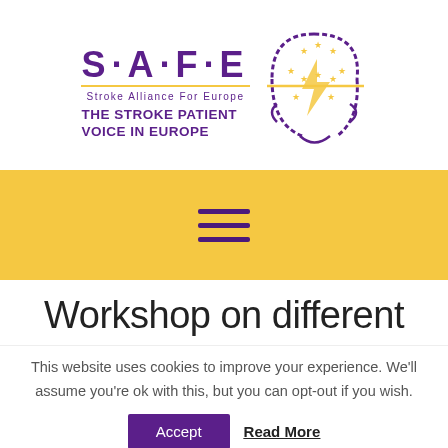[Figure (logo): SAFE - Stroke Alliance For Europe logo with text 'THE STROKE PATIENT VOICE IN EUROPE' and a circular head/brain graphic with EU stars]
[Figure (other): Yellow navigation bar with purple hamburger menu icon (three horizontal lines)]
Workshop on different
This website uses cookies to improve your experience. We'll assume you're ok with this, but you can opt-out if you wish.
Accept  Read More